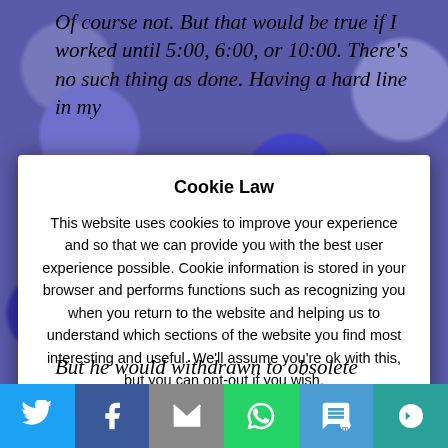Of course not. But that would be true if I worked until 5:00, 6:00, or 10:00. There's no such thing as done. Having a hard line in my
Cookie Law
This website uses cookies to improve your experience and so that we can provide you with the best user experience possible. Cookie information is stored in your browser and performs functions such as recognizing you when you return to the website and helping us to understand which sections of the website you find most interesting and useful. We'll assume you're ok with this, but you can opt-out if you wish.
But he would withdrawn to obsolete
[Figure (infographic): Social share bar with Twitter, Facebook, Email, WhatsApp, SMS, and More buttons]